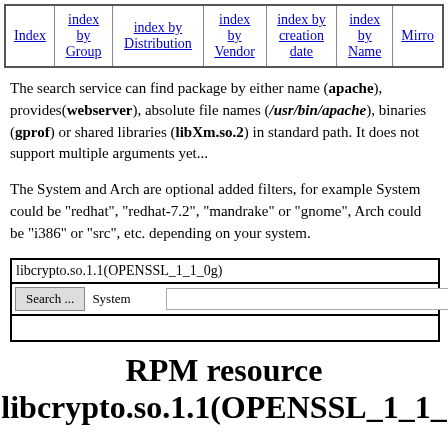| Index | index by Group | index by Distribution | index by Vendor | index by creation date | index by Name | Mirro... |
| --- | --- | --- | --- | --- | --- | --- |
|  |
The search service can find package by either name (apache), provides(webserver), absolute file names (/usr/bin/apache), binaries (gprof) or shared libraries (libXm.so.2) in standard path. It does not support multiple arguments yet...
The System and Arch are optional added filters, for example System could be "redhat", "redhat-7.2", "mandrake" or "gnome", Arch could be "i386" or "src", etc. depending on your system.
libcrypto.so.1.1(OPENSSL_1_1_0g) [search form with Search..., System, Arch fields]
RPM resource libcrypto.so.1.1(OPENSSL_1_1_